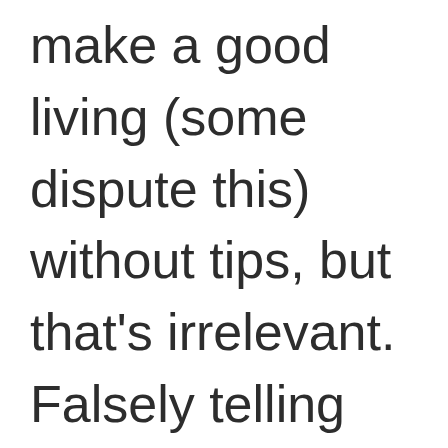make a good living (some dispute this) without tips, but that's irrelevant. Falsely telling riders that explicit